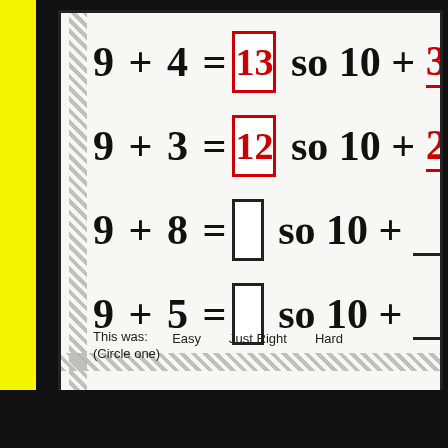[Figure (other): Yellow vertical bar on left side of page]
This was: (Circle one)   Easy   Just Right   Hard